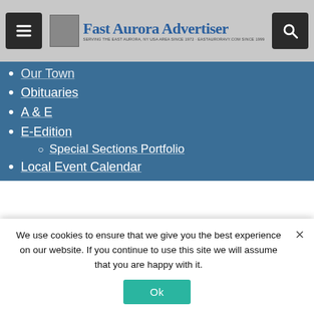Fast Aurora Advertiser — SERVING THE EAST AURORA, NY USA AREA SINCE 1972 · EASTAURORAny.COM SINCE 1999
Our Town (partial, cut off)
Obituaries
A & E
E-Edition
Special Sections Portfolio
Local Event Calendar
Privacy Policy
Log In
My Account
Subscriptions
About Us
Contact Us
Submit News & Announcements
Arcade Herald
East Aurora Advertiser (partial, cut off)
We use cookies to ensure that we give you the best experience on our website. If you continue to use this site we will assume that you are happy with it.